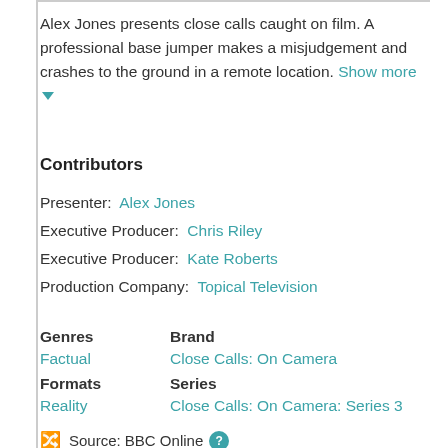Alex Jones presents close calls caught on film. A professional base jumper makes a misjudgement and crashes to the ground in a remote location. Show more ▼
Contributors
Presenter: Alex Jones
Executive Producer: Chris Riley
Executive Producer: Kate Roberts
Production Company: Topical Television
Genres   Brand
Factual   Close Calls: On Camera
Formats   Series
Reality   Close Calls: On Camera: Series 3
Source: BBC Online ?